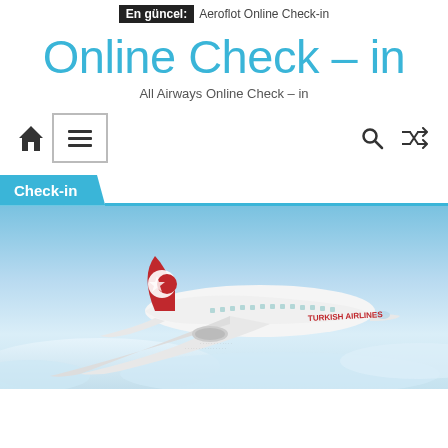En güncel: Aeroflot Online Check-in
Online Check – in
All Airways Online Check – in
[Figure (screenshot): Website navigation bar with home icon, hamburger menu box, search icon, and shuffle icon]
Check-in
[Figure (photo): Turkish Airlines airplane flying in the sky with clouds below]